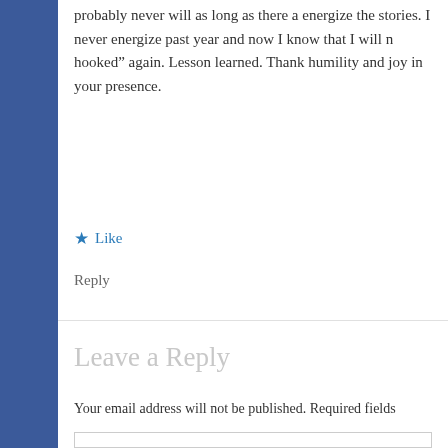probably never will as long as there a energize the stories. I never energize past year and now I know that I will n hooked” again. Lesson learned. Thank humility and joy in your presence.
Like
Reply
Leave a Reply
Your email address will not be published. Required fields